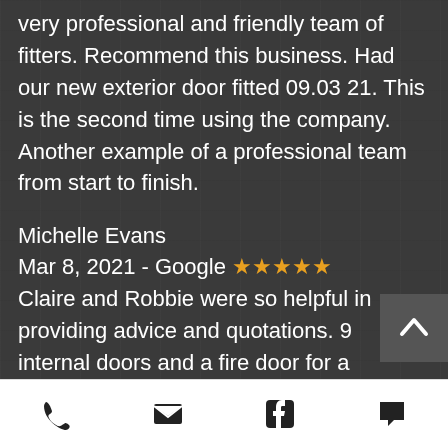very professional and friendly team of fitters. Recommend this business. Had our new exterior door fitted 09.03 21. This is the second time using the company. Another example of a professional team from start to finish.
Michelle Evans
Mar 8, 2021 - Google ★★★★★
Claire and Robbie were so helpful in providing advice and quotations. 9 internal doors and a fire door for a garage/utility room were fitted. The quality of the doors and hardware are 10/10. Really have transformed
[phone] [email] [facebook] [chat]